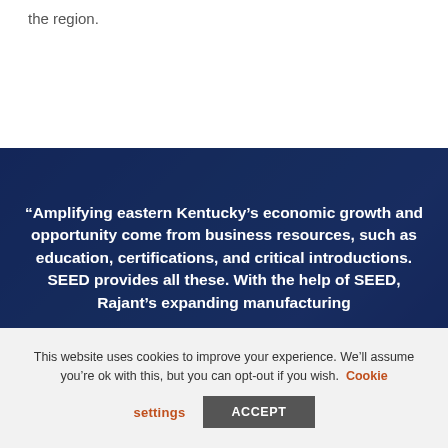the region.
“Amplifying eastern Kentucky’s economic growth and opportunity come from business resources, such as education, certifications, and critical introductions. SEED provides all these. With the help of SEED, Rajant’s expanding manufacturing
This website uses cookies to improve your experience. We’ll assume you’re ok with this, but you can opt-out if you wish. Cookie settings ACCEPT